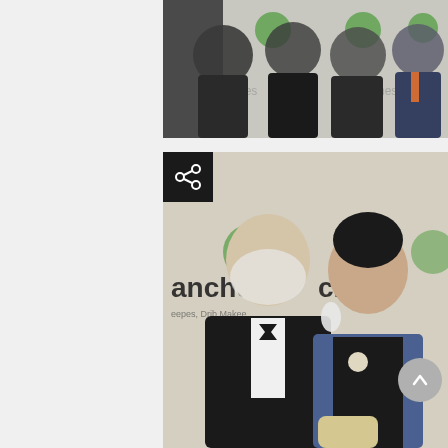[Figure (photo): Group photo of Barbara Deppman, Board Member Ed Deppman, Leslie Maxwell, and Rob Sckalor at a Branches charity event, posing in front of a branded backdrop]
Barbara Deppman & Board Member Ed Deppman and Leslie Maxwell and Rob Sckalor
[Figure (photo): Photo of a man in a black tuxedo with bow tie and a woman in a denim jacket over black outfit, posing together at a Branches charity gala event in front of branded backdrop]